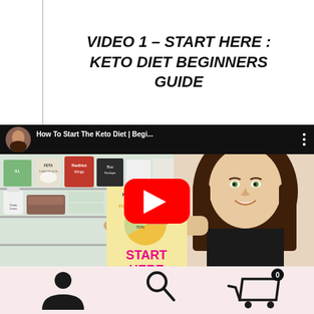VIDEO 1 – START HERE : KETO DIET BEGINNERS GUIDE
[Figure (screenshot): YouTube video thumbnail showing a woman pointing at a keto diet beginners guide book in front of a fridge. Video title reads 'How To Start The Keto Diet | Begi...' with a red YouTube play button in the center. The card shows 'KETOGENIC DIET' with pie chart and 'START HERE' in pink text.]
[Figure (screenshot): Bottom navigation bar with person icon, search icon, and shopping cart icon with '0' badge on a light pink background.]